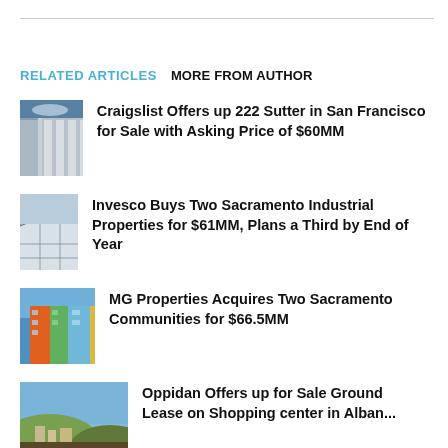RELATED ARTICLES   MORE FROM AUTHOR
Craigslist Offers up 222 Sutter in San Francisco for Sale with Asking Price of $60MM
Invesco Buys Two Sacramento Industrial Properties for $61MM, Plans a Third by End of Year
MG Properties Acquires Two Sacramento Communities for $66.5MM
Oppidan Offers up for Sale Ground Lease on Shopping center in Alban...